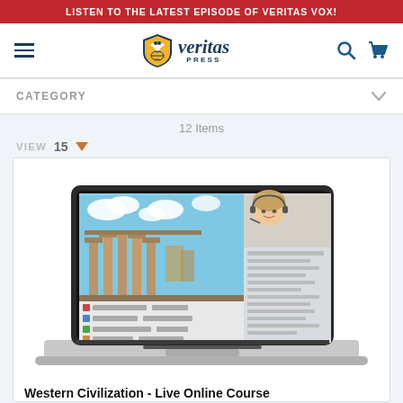LISTEN TO THE LATEST EPISODE OF VERITAS VOX!
[Figure (logo): Veritas Press logo with shield icon and italic 'veritas PRESS' text]
CATEGORY
12 Items
VIEW  15
[Figure (photo): Laptop computer displaying an image of Roman ruins (Forum) with a woman wearing a headset in the upper right corner and a course interface panel on the right side]
Western Civilization - Live Online Course